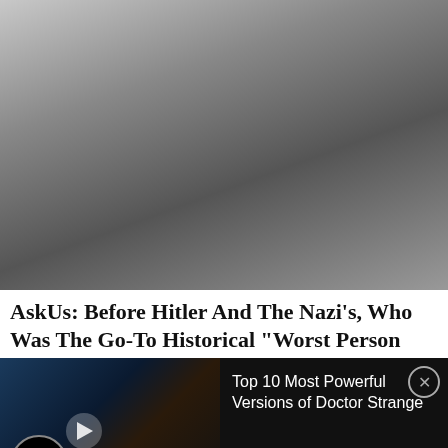[Figure (photo): Black and white historical photograph showing a man in military uniform giving a salute with arm outstretched, wearing an armband with a swastika. Background shows architectural elements.]
AskUs: Before Hitler And The Nazi’s, Who Was The Go-To Historical “Worst Person Ever?”
[Figure (screenshot): Video ad overlay showing animated comic-book style characters (Doctor Strange variants) with WatchMojo branding. Text reads: Top 10 Most Powerful Versions of Doctor Strange. Has a close X button and Close X button at bottom right.]